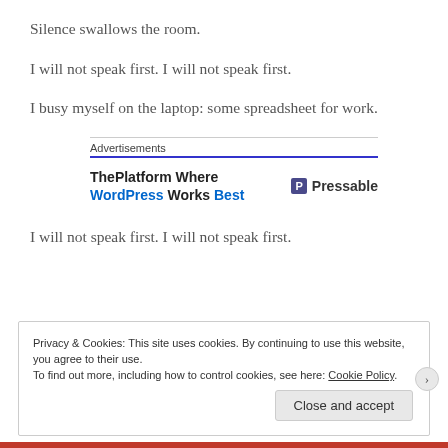Silence swallows the room.
I will not speak first. I will not speak first.
I busy myself on the laptop: some spreadsheet for work.
[Figure (other): Advertisement banner for Pressable — 'The Platform Where WordPress Works Best']
I will not speak first. I will not speak first.
Privacy & Cookies: This site uses cookies. By continuing to use this website, you agree to their use.
To find out more, including how to control cookies, see here: Cookie Policy